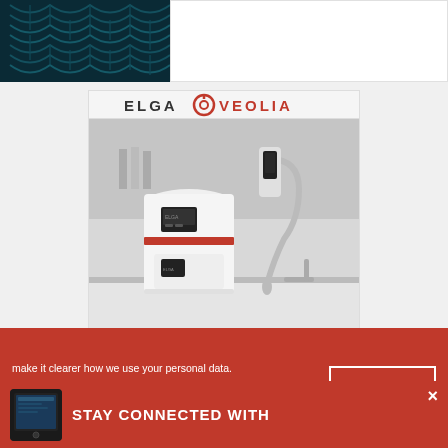[Figure (photo): Top banner with dark teal DNA helix illustration on left and white space on right]
[Figure (photo): Elga Veolia lab water purification system advertisement showing a white cylindrical device and a dispensing arm in a laboratory setting]
make it clearer how we use your personal data. Please read our Cookie Policy to learn how we use cookies to provide you
[Figure (other): I UNDERSTAND button - cookie consent accept button]
[Figure (other): OriGene Special Offer banner - green bar with Special Offer text and OriGene logo]
STAY CONNECTED WITH